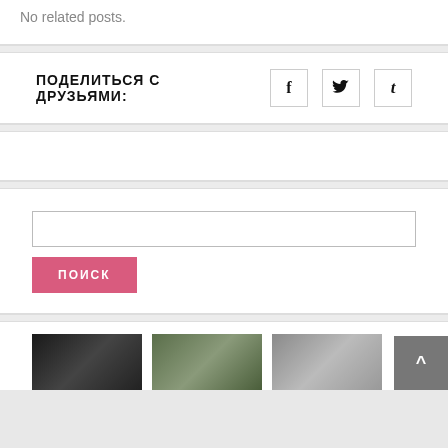No related posts.
ПОДЕЛИТЬСЯ С ДРУЗЬЯМИ:
[Figure (other): Social share icons: Facebook (f), Twitter (bird), Tumblr (t)]
[Figure (other): Advertisement/empty banner area]
[Figure (other): Search box with input field and pink ПОИСК button]
[Figure (other): Thumbnail images row at bottom of page with back-to-top arrow button]